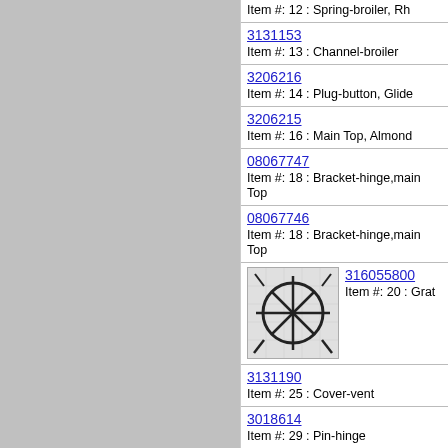Item #: 12 : Spring-broiler, Rh
3131153
Item #: 13 : Channel-broiler
3206216
Item #: 14 : Plug-button, Glide
3206215
Item #: 16 : Main Top, Almond
08067747
Item #: 18 : Bracket-hinge,main Top
08067746
Item #: 18 : Bracket-hinge,main Top
316055800
Item #: 20 : Grat
3131190
Item #: 25 : Cover-vent
3018614
Item #: 29 : Pin-hinge
5303131258
Item #: 30 : Insulation, Broiler Draw